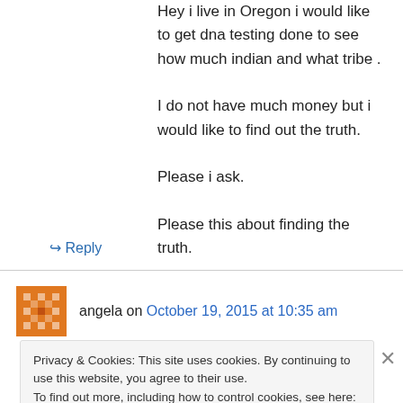Hey i live in Oregon i would like to get dna testing done to see how much indian and what tribe . I do not have much money but i would like to find out the truth. Please i ask. Please this about finding the truth.
↪ Reply
angela on October 19, 2015 at 10:35 am
Privacy & Cookies: This site uses cookies. By continuing to use this website, you agree to their use. To find out more, including how to control cookies, see here: Cookie Policy